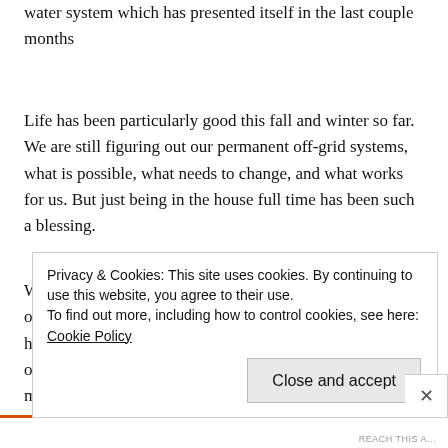water system which has presented itself in the last couple months
Life has been particularly good this fall and winter so far. We are still figuring out our permanent off-grid systems, what is possible, what needs to change, and what works for us. But just being in the house full time has been such a blessing.
We are really looking forward to being able to work on outdoor projects this coming year, without feeling like we have this huge thing (the house construction) hanging over our heads. As a friend recently told me, it’s time to re-train my brain to not be in constant construction-survival mode.
Privacy & Cookies: This site uses cookies. By continuing to use this website, you agree to their use.
To find out more, including how to control cookies, see here: Cookie Policy
Close and accept